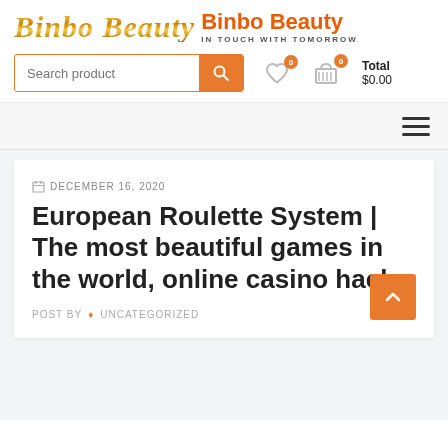Binbo Beauty – IN TOUCH WITH TOMORROW
Search product | Total $0.00
DECEMBER 16, 2020
European Roulette System | The most beautiful games in the world, online casino hack
POST BY ♦ UNCATEGORIZED